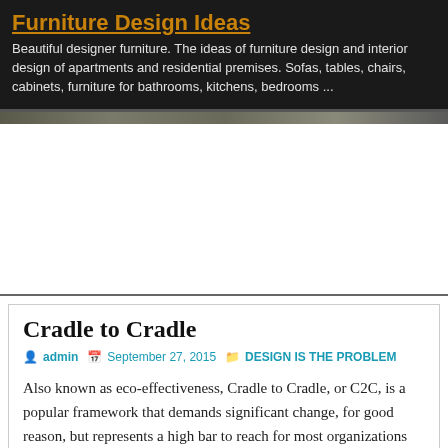Furniture Design Ideas
Beautiful designer furniture. The ideas of furniture design and interior design of apartments and residential premises. Sofas, tables, chairs, cabinets, furniture for bathrooms, kitchens, bedrooms ...
[Figure (photo): Image strip of furniture photos]
[Figure (other): Advertisement area (blank white space)]
Cradle to Cradle
admin  September 27, 2015  DESIGN IS THE PROBLEM
Also known as eco-effectiveness, Cradle to Cradle, or C2C, is a popular framework that demands significant change, for good reason, but represents a high bar to reach for most organizations (see Figure 3.2). It is a powerful perspective on the cyclic nature of waste and food, as well as the need to